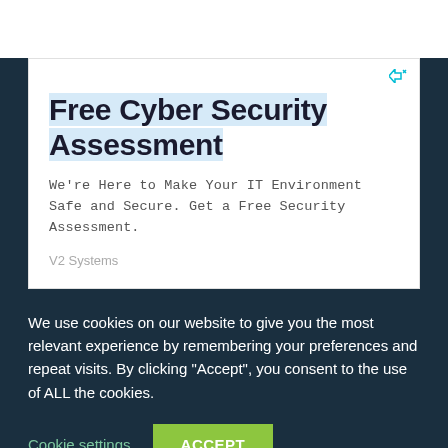[Figure (screenshot): Advertisement card on white background showing 'Free Cyber Security Assessment' with icons for ad info and close, body text, and V2 Systems source label]
Free Cyber Security Assessment
We're Here to Make Your IT Environment Safe and Secure. Get a Free Security Assessment.
V2 Systems
We use cookies on our website to give you the most relevant experience by remembering your preferences and repeat visits. By clicking "Accept", you consent to the use of ALL the cookies.
Cookie settings
ACCEPT